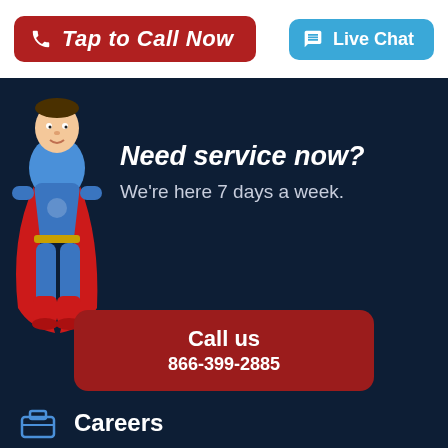[Figure (illustration): Red button with phone icon and italic bold text 'Tap to Call Now']
[Figure (illustration): Blue rounded button with chat icon and text 'Live Chat']
[Figure (illustration): Cartoon superhero character in blue suit with red cape and red boots against dark navy background]
Need service now? We're here 7 days a week.
[Figure (illustration): Dark red rounded button with text 'Call us' and phone number '866-399-2885']
[Figure (illustration): Dark blue outlined rounded button with calendar icon and text 'Schedule Service']
Careers